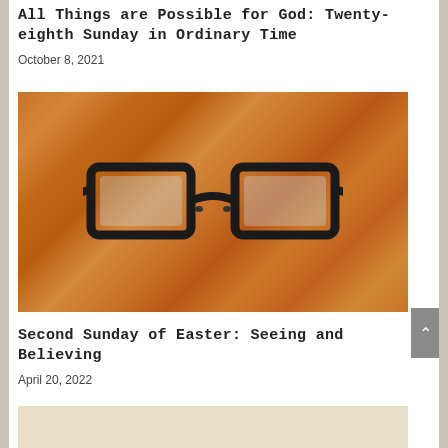All Things are Possible for God: Twenty-eighth Sunday in Ordinary Time
October 8, 2021
[Figure (photo): A pair of dark-framed rectangular eyeglasses resting on a rustic wooden surface with warm brown tones.]
Second Sunday of Easter: Seeing and Believing
April 20, 2022
[Figure (photo): Partially visible image at the bottom of the page, appears to be a light tan/beige toned photo.]